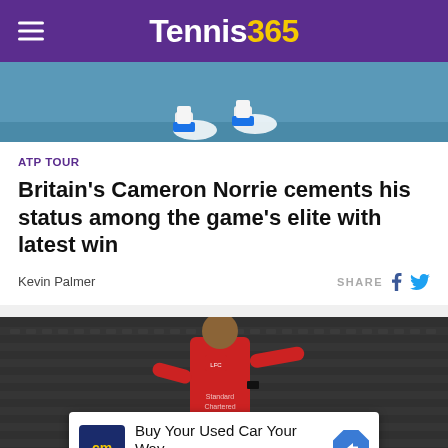Tennis365
[Figure (photo): Tennis player's feet on court, seen from above]
ATP TOUR
Britain's Cameron Norrie cements his status among the game's elite with latest win
Kevin Palmer
SHARE
[Figure (photo): Liverpool footballer in red kit pointing on the pitch, stadium crowd in background]
Buy Your Used Car Your Way
CarMax